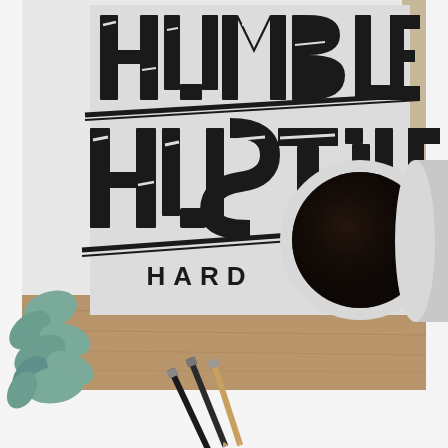[Figure (photo): Overhead flatlay photo showing a white poster/print with large distressed block lettering reading 'HUMBLE HUSTLE HARD', a white ceramic mug filled with black coffee viewed from above, several pencils (graphite and charcoal) on a wooden surface, and a succulent plant with blue-green leaves in the lower left corner.]